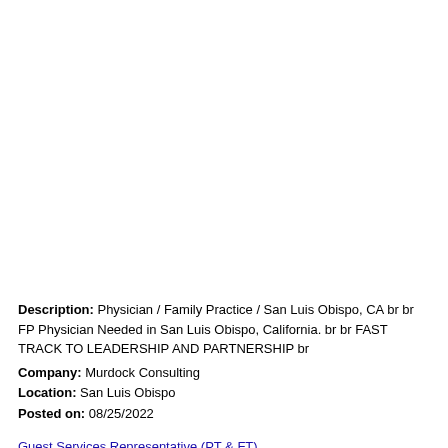Description: Physician / Family Practice / San Luis Obispo, CA br br FP Physician Needed in San Luis Obispo, California. br br FAST TRACK TO LEADERSHIP AND PARTNERSHIP br
Company: Murdock Consulting
Location: San Luis Obispo
Posted on: 08/25/2022
Guest Services Representative (PT & FT)